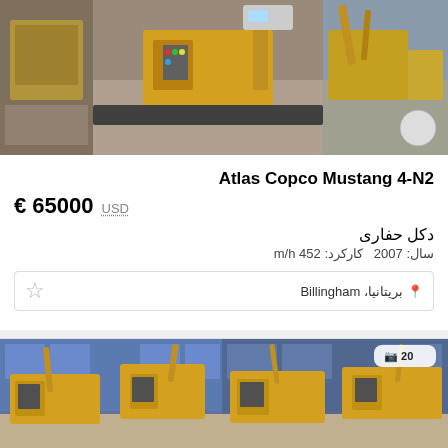[Figure (photo): Three photos of Atlas Copco Mustang 4-N2 drilling machine, yellow colored, on construction site]
Atlas Copco Mustang 4-N2
65000 € USD
دکل حفاری
سال: 2007  کارکرد: 452 m/h
بریتانیا، Billingham
[Figure (photo): Two photos of a yellow drilling rig inside a warehouse/factory]